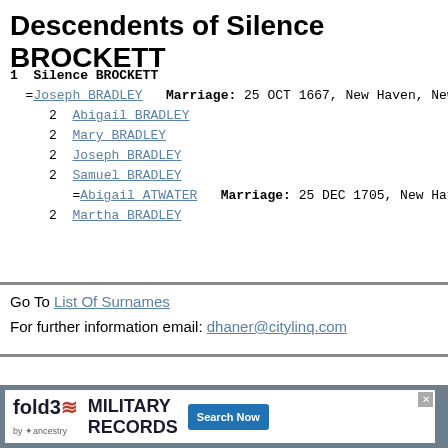Descendents of Silence BROCKETT
1  Silence BROCKETT
=Joseph BRADLEY   Marriage: 25 OCT 1667, New Haven, New
2  Abigail BRADLEY
2  Mary BRADLEY
2  Joseph BRADLEY
2  Samuel BRADLEY
=Abigail ATWATER   Marriage: 25 DEC 1705, New Haven,
2  Martha BRADLEY
Go To List Of Surnames
For further information email: dhaner@citylinq.com
[Figure (other): Fold3 by Ancestry Military Records advertisement banner with Search Now button]